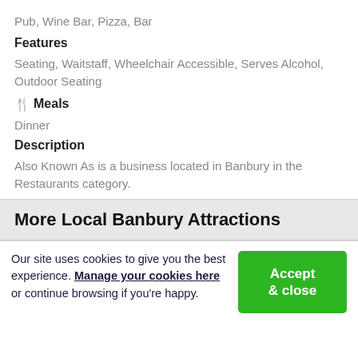Pub, Wine Bar, Pizza, Bar
Features
Seating, Waitstaff, Wheelchair Accessible, Serves Alcohol, Outdoor Seating
🍴 Meals
Dinner
Description
Also Known As is a business located in Banbury in the Restaurants category.
More Local Banbury Attractions
Our site uses cookies to give you the best experience. Manage your cookies here or continue browsing if you're happy.